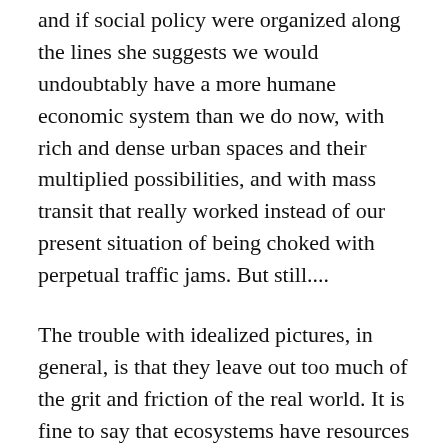and if social policy were organized along the lines she suggests we would undoubtably have a more humane economic system than we do now, with rich and dense urban spaces and their multiplied possibilities, and with mass transit that really worked instead of our present situation of being choked with perpetual traffic jams. But still....
The trouble with idealized pictures, in general, is that they leave out too much of the grit and friction of the real world. It is fine to say that ecosystems have resources for maintaining stability and growth in the face of peril and uncertainty. Some rabbits may die in the process of an ecosystem's self-organization, but the rabbit species is healthier and better off